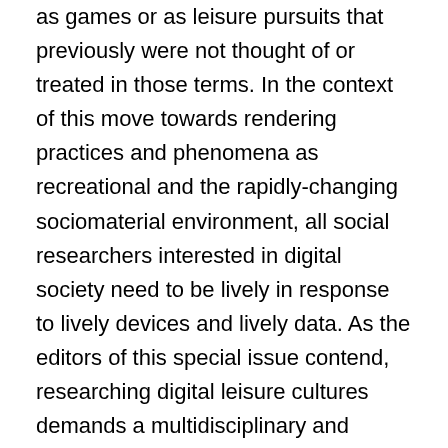as games or as leisure pursuits that previously were not thought of or treated in those terms. In the context of this move towards rendering practices and phenomena as recreational and the rapidly-changing sociomaterial environment, all social researchers interested in digital society need to be lively in response to lively devices and lively data. As the editors of this special issue contend, researching digital leisure cultures demands a multidisciplinary and interdisciplinary perspective. Several exciting new interdisciplinary areas have emerged in response to the increasingly digitised world: among them internet studies, platform studies, software studies, critical algorithm studies and critical data studies. The ways in which leisure studies can engage with these, as well the work carried out in sub-disciplines such as digital sociology, digital humanities and digital anthropology, have yet to be fully realised. In return, the key focus areas of